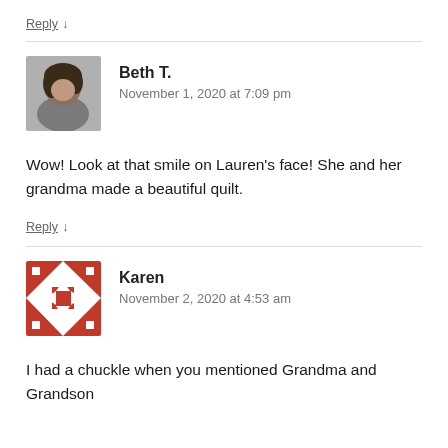Reply ↓
[Figure (photo): Avatar photo of Beth T., a person with dark hair]
Beth T.
November 1, 2020 at 7:09 pm
Wow! Look at that smile on Lauren's face! She and her grandma made a beautiful quilt.
Reply ↓
[Figure (illustration): Geometric red and white avatar icon for Karen]
Karen
November 2, 2020 at 4:53 am
I had a chuckle when you mentioned Grandma and Grandson